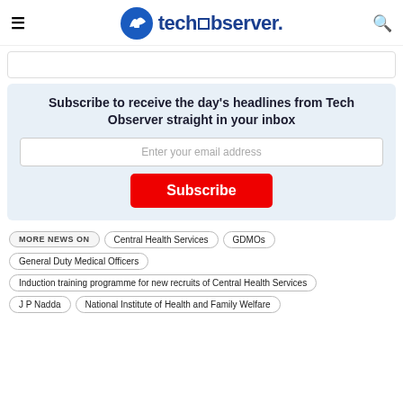techobserver.
Subscribe to receive the day's headlines from Tech Observer straight in your inbox
Enter your email address
Subscribe
MORE NEWS ON  Central Health Services  GDMOs
General Duty Medical Officers
Induction training programme for new recruits of Central Health Services
J P Nadda  National Institute of Health and Family Welfare